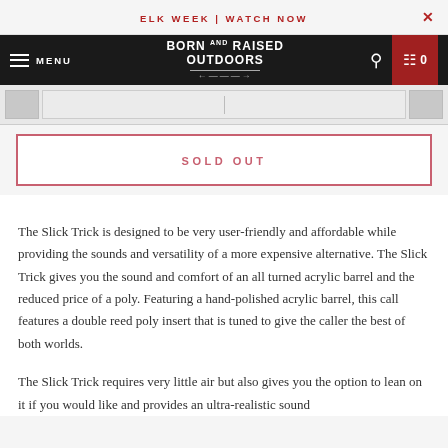ELK WEEK | WATCH NOW
BORN AND RAISED OUTDOORS — MENU — Search — Cart 0
[Figure (screenshot): Product image thumbnail strip showing partial product images]
SOLD OUT
The Slick Trick is designed to be very user-friendly and affordable while providing the sounds and versatility of a more expensive alternative. The Slick Trick gives you the sound and comfort of an all turned acrylic barrel and the reduced price of a poly. Featuring a hand-polished acrylic barrel, this call features a double reed poly insert that is tuned to give the caller the best of both worlds.
The Slick Trick requires very little air but also gives you the option to lean on it if you would like and provides an ultra-realistic sound